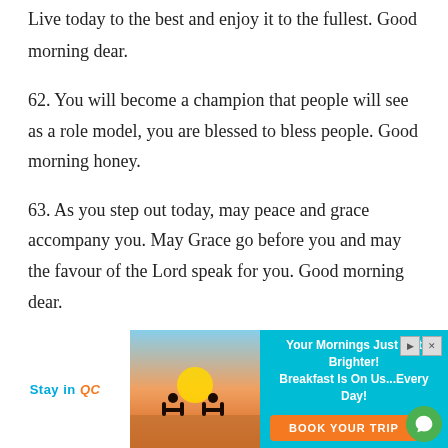Live today to the best and enjoy it to the fullest. Good morning dear.
62. You will become a champion that people will see as a role model, you are blessed to bless people. Good morning honey.
63. As you step out today, may peace and grace accompany you. May Grace go before you and may the favour of the Lord speak for you. Good morning dear.
[Figure (infographic): Advertisement banner: Stay in QC logo on left, sunset beach image with silhouetted figures in chairs, right panel with cyan background showing 'Your Mornings Just Got Brighter! Breakfast Is On Us...Every Day!' and orange 'BOOK YOUR TRIP' button. Chat bubble icon bottom right.]